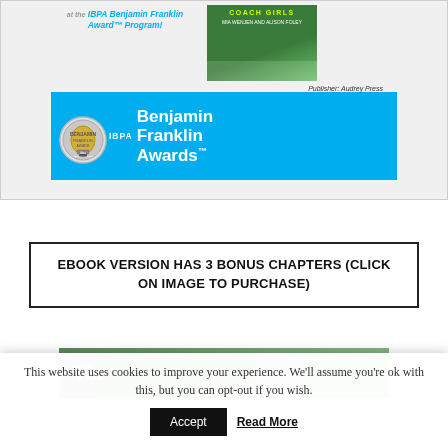[Figure (illustration): IBPA Benjamin Franklin Award program promotional image showing a book cover 'Coach Girls' by Mia Wenjen and Alison Foley, with 'Publisher: Audrey Press' text, and a teal banner with a Benjamin Franklin medal logo and 'IBPA Benjamin Franklin Awards' text in white.]
EBOOK VERSION HAS 3 BONUS CHAPTERS (CLICK ON IMAGE TO PURCHASE)
[Figure (illustration): Partial book cover image showing a green background with 'The' visible text, cut off at bottom of page.]
This website uses cookies to improve your experience. We'll assume you're ok with this, but you can opt-out if you wish.
Accept
Read More